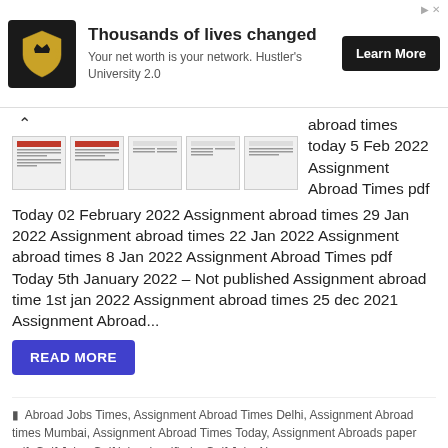[Figure (other): Advertisement banner: logo of a shield/laurel emblem on dark background, headline 'Thousands of lives changed', subtext 'Your net worth is your network. Hustler's University 2.0', and a 'Learn More' dark button. Small ad icons top right.]
[Figure (other): Thumbnail strip of 5 small newspaper page images with an up-arrow navigation button on left]
abroad times today 5 Feb 2022 Assignment Abroad Times pdf
Today 02 February 2022 Assignment abroad times 29 Jan 2022 Assignment abroad times 22 Jan 2022 Assignment abroad times 8 Jan 2022 Assignment Abroad Times pdf Today 5th January 2022 – Not published Assignment abroad time 1st jan 2022 Assignment abroad times 25 dec 2021 Assignment Abroad...
READ MORE
Abroad Jobs Times, Assignment Abroad Times Delhi, Assignment Abroad times Mumbai, Assignment Abroad Times Today, Assignment Abroads paper pdf, Gulf Jobs, Gulf jobs classifieds, Gulf Jobs Newspaper,